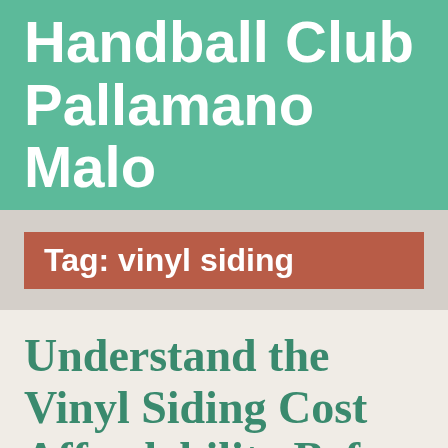Handball Club Pallamano Malo
Tag: vinyl siding
Understand the Vinyl Siding Cost Affordability Before